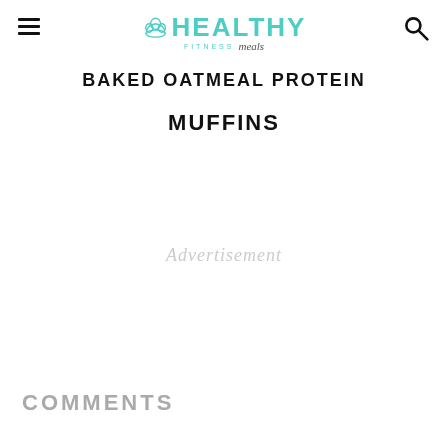Healthy Fitness Meals
BAKED OATMEAL PROTEIN MUFFINS
Advertisement
COMMENTS